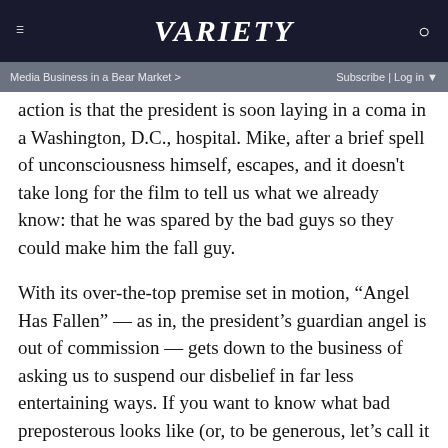VARIETY
Media Business in a Bear Market >   Subscribe | Log in
action is that the president is soon laying in a coma in a Washington, D.C., hospital. Mike, after a brief spell of unconsciousness himself, escapes, and it doesn't take long for the film to tell us what we already know: that he was spared by the bad guys so they could make him the fall guy.
With its over-the-top premise set in motion, “Angel Has Fallen” — as in, the president’s guardian angel is out of commission — gets down to the business of asking us to suspend our disbelief in far less entertaining ways. If you want to know what bad preposterous looks like (or, to be generous, let’s call it mediocre preposterous), check out the scenes in which Mike reunites with his father, Clay Banning, a grizzled Vietnam veteran living off the grid in a West Virginia shack, like a cross between the Unabomber and the most cliché crazy war vet you’ve ever seen. There’s a certain